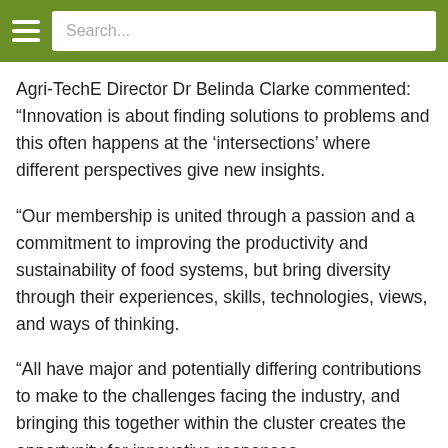Search...
Agri-TechE Director Dr Belinda Clarke commented: “Innovation is about finding solutions to problems and this often happens at the ‘intersections’ where different perspectives give new insights.
“Our membership is united through a passion and a commitment to improving the productivity and sustainability of food systems, but bring diversity through their experiences, skills, technologies, views, and ways of thinking.
“All have major and potentially differing contributions to make to the challenges facing the industry, and bringing this together within the cluster creates the opportunity for innovative responses.
“We chose ‘One Agriculture’ as the topic for this